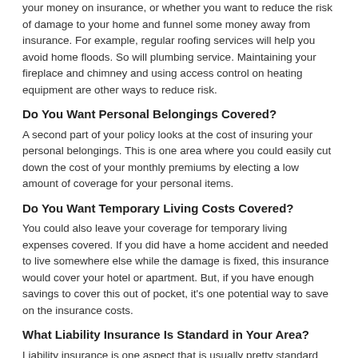your money on insurance, or whether you want to reduce the risk of damage to your home and funnel some money away from insurance. For example, regular roofing services will help you avoid home floods. So will plumbing service. Maintaining your fireplace and chimney and using access control on heating equipment are other ways to reduce risk.
Do You Want Personal Belongings Covered?
A second part of your policy looks at the cost of insuring your personal belongings. This is one area where you could easily cut down the cost of your monthly premiums by electing a low amount of coverage for your personal items.
Do You Want Temporary Living Costs Covered?
You could also leave your coverage for temporary living expenses covered. If you did have a home accident and needed to live somewhere else while the damage is fixed, this insurance would cover your hotel or apartment. But, if you have enough savings to cover this out of pocket, it's one potential way to save on the insurance costs.
What Liability Insurance Is Standard in Your Area?
Liability insurance is one aspect that is usually pretty standard